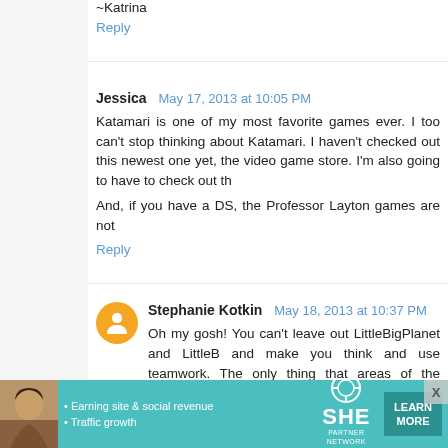~Katrina
Reply
Jessica  May 17, 2013 at 10:05 PM
Katamari is one of my most favorite games ever. I too can't stop thinking about Katamari. I haven't checked out this newest one yet, the video game store. I'm also going to have to check out th
And, if you have a DS, the Professor Layton games are not
Reply
Stephanie Kotkin  May 18, 2013 at 10:37 PM
Oh my gosh! You can't leave out LittleBigPlanet and LittleB and make you think and use teamwork. The only thing that areas of the levels. Easily solved by playing online or with free user-made levels and you can even make levels yours
Reply
Navi  May 19, 2013 at 12:20 PM
[Figure (infographic): SHE Partner Network advertisement banner with photo, bullet points about earning site & social revenue and traffic growth, SHE logo, and LEARN MORE button]